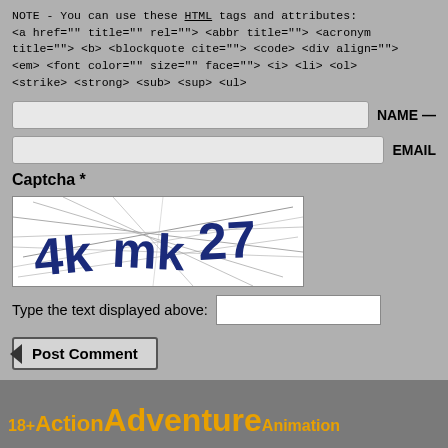NOTE - You can use these HTML tags and attributes:
<a href="" title="" rel=""> <abbr title=""> <acronym title=""> <b> <blockquote cite=""> <code> <div align=""> <em> <font color="" size="" face=""> <i> <li> <ol> <strike> <strong> <sub> <sup> <ul>
NAME —
EMAIL
Captcha *
[Figure (other): CAPTCHA image showing distorted text '4kmk27' with dark blue letters on white background with diagonal scratch lines]
Type the text displayed above:
Post Comment
18+  Action  Adventure  Animation  Biography  Blu-ray  Com  Experimental  Family  Fantasy, Sci-Fi  History  Horror  Mus
[Figure (logo): uptime badge/logo in orange]